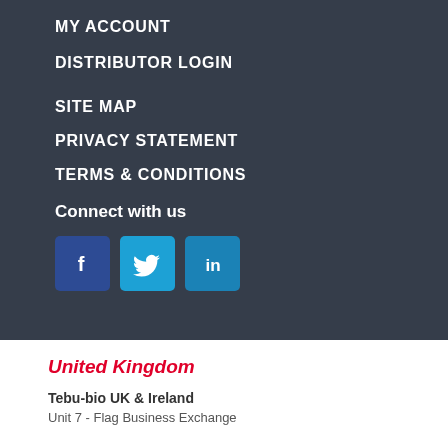MY ACCOUNT
DISTRIBUTOR LOGIN
SITE MAP
PRIVACY STATEMENT
TERMS & CONDITIONS
Connect with us
[Figure (infographic): Social media icons: Facebook (blue square with f), Twitter (light blue square with bird), LinkedIn (blue square with in)]
United Kingdom
Tebu-bio UK & Ireland
Unit 7 - Flag Business Exchange